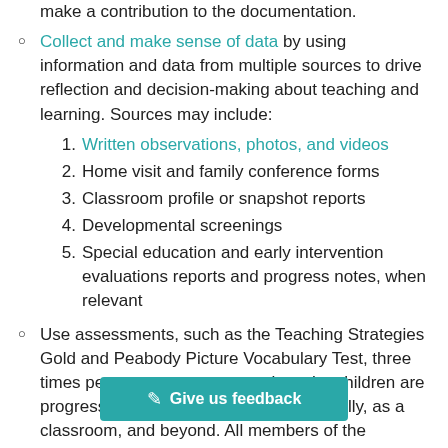child progress. All members of the classroom team make a contribution to the documentation.
Collect and make sense of data by using information and data from multiple sources to drive reflection and decision-making about teaching and learning. Sources may include:
1. Written observations, photos, and videos
2. Home visit and family conference forms
3. Classroom profile or snapshot reports
4. Developmental screenings
5. Special education and early intervention evaluations reports and progress notes, when relevant
Use assessments, such as the Teaching Strategies Gold and Peabody Picture Vocabulary Test, three times per program year to see how the children are progressing towards their goals individually, as a classroom, and beyond. All members of the classroom team make a contribution to the documentation.